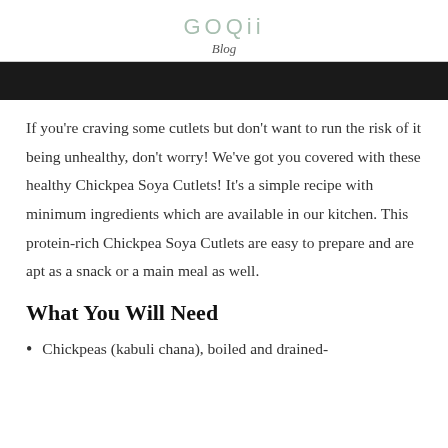GOQii
Blog
[Figure (photo): Dark banner/hero image at top of blog post]
If you're craving some cutlets but don't want to run the risk of it being unhealthy, don't worry! We've got you covered with these healthy Chickpea Soya Cutlets! It's a simple recipe with minimum ingredients which are available in our kitchen. This protein-rich Chickpea Soya Cutlets are easy to prepare and are apt as a snack or a main meal as well.
What You Will Need
Chickpeas (kabuli chana), boiled and drained-